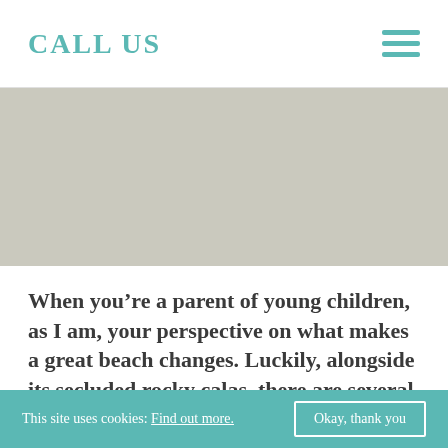CALL US
[Figure (photo): Large beige/tan placeholder image area representing a beach photo]
When you’re a parent of young children, as I am, your perspective on what makes a great beach changes. Luckily, alongside its secluded rocky calas, there are several splendidly family-friendly beaches in Ibiza.
I’d like to share my top five family-friendly beaches in Ibiza with you.
This site uses cookies: Find out more.  Okay, thank you